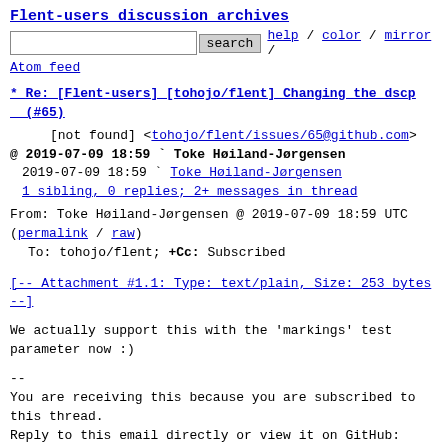Flent-users discussion archives
[search] help / color / mirror / Atom feed
* Re: [Flent-users] [tohojo/flent] Changing the dscp (#65)
[not found] <tohojo/flent/issues/65@github.com>
@ 2019-07-09 18:59 ` Toke Høiland-Jørgensen
  2019-07-09 18:59 ` Toke Høiland-Jørgensen
  1 sibling, 0 replies; 2+ messages in thread
From: Toke Høiland-Jørgensen @ 2019-07-09 18:59 UTC
(permalink / raw)
  To: tohojo/flent; +Cc: Subscribed
[-- Attachment #1.1: Type: text/plain, Size: 253 bytes --]
We actually support this with the 'markings' test
parameter now :)
--
You are receiving this because you are subscribed to
this thread.
Reply to this email directly or view it on GitHub:
https://github.com/tohojo/flent/issues/65#issuecomment-509765557
[-- Attachment #1.2: Type: text/html, Size: 1615 bytes